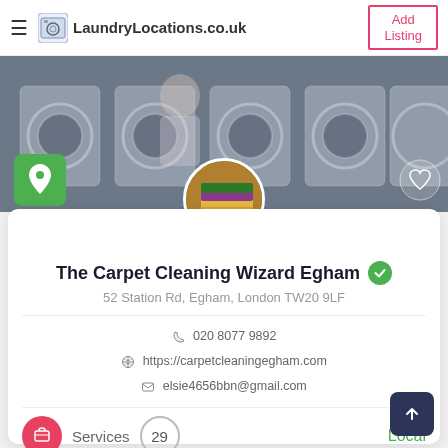LaundryLocations.co.uk | Add Listing
[Figure (photo): Hero banner showing laundry washing machines with a person working, overlaid with a green map pin icon on the left and a heart icon on the right. A circular profile photo of folded colourful towels/textiles is centred at the bottom edge of the hero image.]
The Carpet Cleaning Wizard Egham
52 Station Rd, Egham, London TW20 9LF
020 8077 9892
https://carpetcleaningegham.com
elsie4656bbn@gmail.com
Services   29   Local